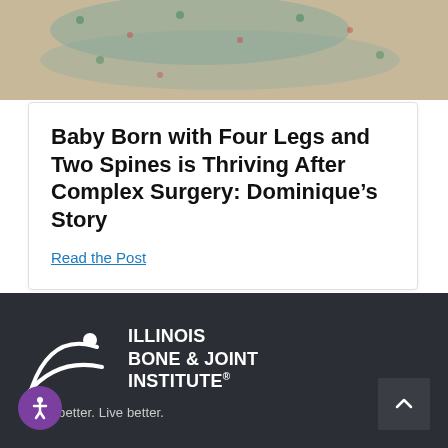[Figure (photo): Photo of a baby wrapped in a patterned blanket/fabric, top of the page]
Baby Born with Four Legs and Two Spines is Thriving After Complex Surgery: Dominique's Story
Read the Post
[Figure (logo): Illinois Bone & Joint Institute logo — white swoosh figure with text on dark background]
Move better. Live better.